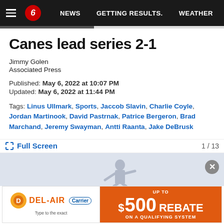NEWS | GETTING RESULTS. | WEATHER
Canes lead series 2-1
Jimmy Golen
Associated Press
Published: May 6, 2022 at 10:07 PM
Updated: May 6, 2022 at 11:44 PM
Tags: Linus Ullmark, Sports, Jaccob Slavin, Charlie Coyle, Jordan Martinook, David Pastrnak, Patrice Bergeron, Brad Marchand, Jeremy Swayman, Antti Raanta, Jake DeBrusk
Full Screen    1 / 13
[Figure (photo): Partial view of sports photo with player figure visible]
[Figure (other): DEL-AIR advertisement banner: UP TO $500 REBATE ON A QUALIFYING SYSTEM with Carrier logo]